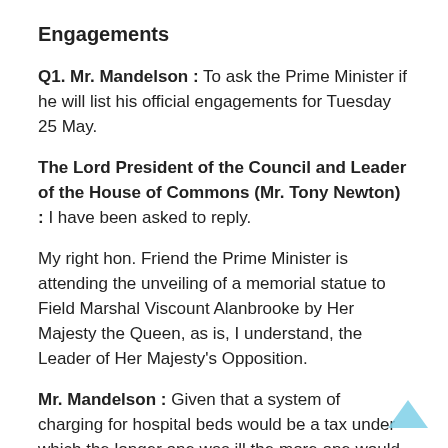Engagements
Q1. Mr. Mandelson : To ask the Prime Minister if he will list his official engagements for Tuesday 25 May.
The Lord President of the Council and Leader of the House of Commons (Mr. Tony Newton) : I have been asked to reply.
My right hon. Friend the Prime Minister is attending the unveiling of a memorial statue to Field Marshal Viscount Alanbrooke by Her Majesty the Queen, as is, I understand, the Leader of Her Majesty's Opposition.
Mr. Mandelson : Given that a system of charging for hospital beds would be a tax under which the longer one was ill the more one would have to pay,